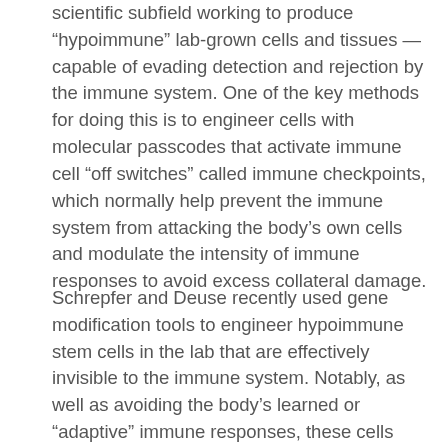scientific subfield working to produce “hypoimmune” lab-grown cells and tissues — capable of evading detection and rejection by the immune system. One of the key methods for doing this is to engineer cells with molecular passcodes that activate immune cell “off switches” called immune checkpoints, which normally help prevent the immune system from attacking the body’s own cells and modulate the intensity of immune responses to avoid excess collateral damage.
Schrepfer and Deuse recently used gene modification tools to engineer hypoimmune stem cells in the lab that are effectively invisible to the immune system. Notably, as well as avoiding the body’s learned or “adaptive” immune responses, these cells could also evade the body’s automatic “innate” immune response against potential pathogens. To achieve this, the researchers adapted a strategy used by cancer cells to keep